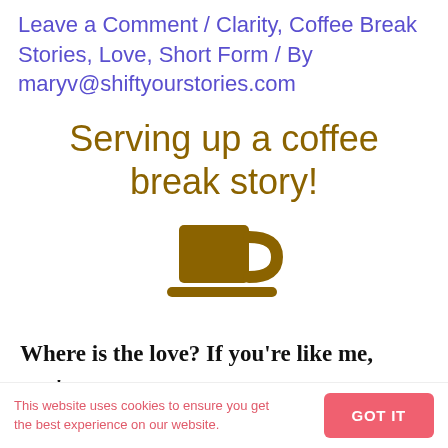Leave a Comment / Clarity, Coffee Break Stories, Love, Short Form / By maryv@shiftyourstories.com
[Figure (illustration): Handwritten-style golden/brown text reading 'Serving up a coffee break story!']
[Figure (illustration): Golden-brown coffee cup icon with saucer]
Where is the love? If you're like me, you're feeling the weight of way too much anger and
This website uses cookies to ensure you get the best experience on our website.
GOT IT